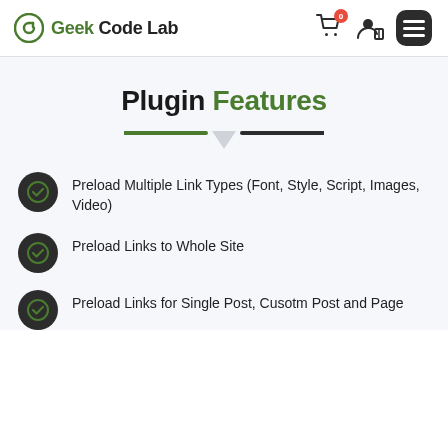Geek Code Lab
Plugin Features
Preload Multiple Link Types (Font, Style, Script, Images, Video)
Preload Links to Whole Site
Preload Links for Single Post, Cusotm Post and Page